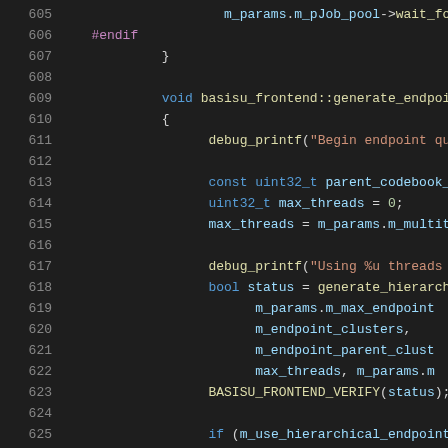[Figure (screenshot): Source code editor showing C++ code lines 605-625 with syntax highlighting on dark background. Code shows basisu_frontend generate_endpoint function with thread management and hierarchical endpoint generation.]